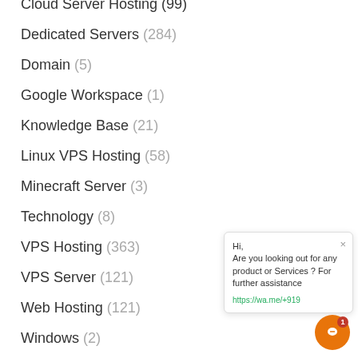Cloud Server Hosting (99)
Dedicated Servers (284)
Domain (5)
Google Workspace (1)
Knowledge Base (21)
Linux VPS Hosting (58)
Minecraft Server (3)
Technology (8)
VPS Hosting (363)
VPS Server (121)
Web Hosting (121)
Windows (2)
Windows VPS Hosting (39)
Latest Posts
[Figure (photo): Blue thumbnail image with a red badge label, partial view at bottom of page]